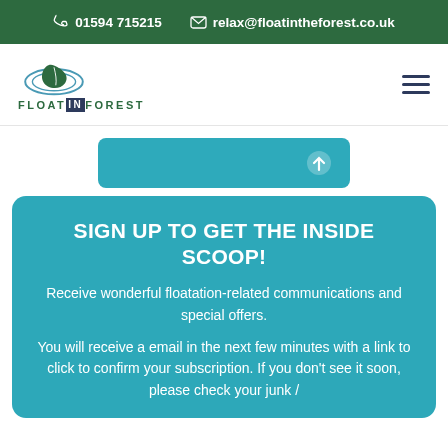01594 715215   relax@floatintheforest.co.uk
[Figure (logo): Float in the Forest logo with leaf illustration and text FLOAT IN FOREST]
[Figure (other): Teal rectangular button with partial icon visible on right side]
SIGN UP TO GET THE INSIDE SCOOP!
Receive wonderful floatation-related communications and special offers.
You will receive a email in the next few minutes with a link to click to confirm your subscription. If you don't see it soon, please check your junk /